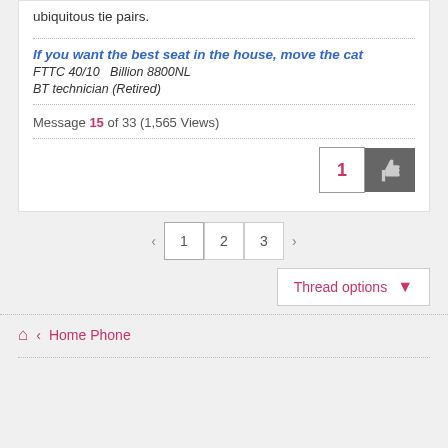ubiquitous tie pairs.
If you want the best seat in the house, move the cat
FTTC 40/10   Billion 8800NL
BT technician (Retired)
Message 15 of 33 (1,565 Views)
1 [thumbs up]
< 1 2 3 >
Thread options
Home Phone